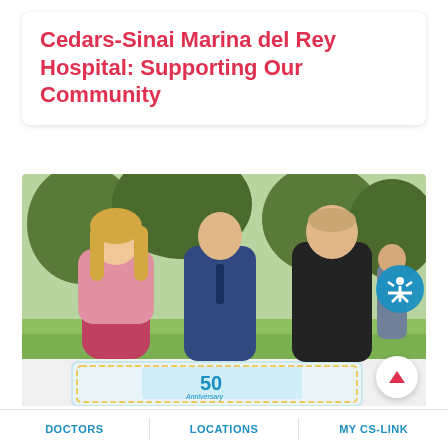Cedars-Sinai Marina del Rey Hospital: Supporting Our Community
[Figure (photo): Three people standing outdoors near a 50th Anniversary cake. A woman in pink blazer and red dress on the left, a man in blue suit in the middle, and a man in dark suit on the right. They appear to be at a hospital anniversary celebration event. A large decorated cake with '50 Anniversary' is visible in the foreground.]
2019 August, 23,
DOCTORS    LOCATIONS    MY CS-LINK